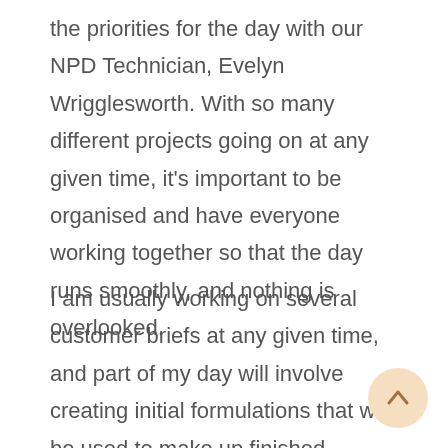the priorities for the day with our NPD Technician, Evelyn Wrigglesworth. With so many different projects going on at any given time, it's important to be organised and have everyone working together so that the day runs smoothly, and nothing is overlooked.
I am usually working on several customer briefs at any given time, and part of my day will involve creating initial formulations that will be used to make up finished product prototypes in our NPD kitchen. Keeping on top of trends in the